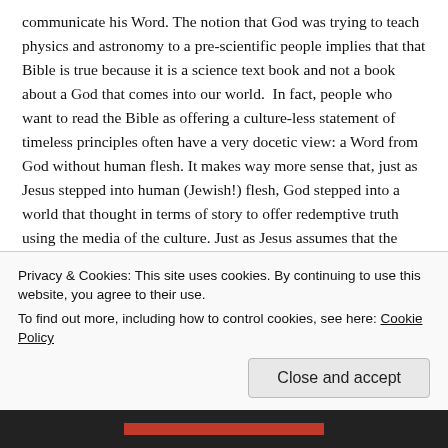communicate his Word. The notion that God was trying to teach physics and astronomy to a pre-scientific people implies that that Bible is true because it is a science text book and not a book about a God that comes into our world.  In fact, people who want to read the Bible as offering a culture-less statement of timeless principles often have a very docetic view: a Word from God without human flesh. It makes way more sense that, just as Jesus stepped into human (Jewish!) flesh, God stepped into a world that thought in terms of story to offer redemptive truth using the media of the culture. Just as Jesus assumes that the mustard seed is the smallest seed (which was the ancient assumption) to teach as about the power of faith, so also Genesis assumes a geocentric universe to communicate God. The meaning of faith is not damaged by the mustard seed not actually being the smallest seed nor is creation disproved by astronomy. So, the fact that God ...
Privacy & Cookies: This site uses cookies. By continuing to use this website, you agree to their use.
To find out more, including how to control cookies, see here: Cookie Policy
Close and accept